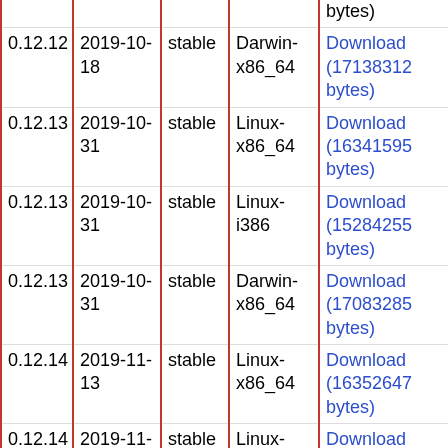| Version | Date | Channel | Platform | Download |
| --- | --- | --- | --- | --- |
|  |  |  |  | bytes) |
| 0.12.12 | 2019-10-18 | stable | Darwin-x86_64 | Download (17138312 bytes) |
| 0.12.13 | 2019-10-31 | stable | Linux-x86_64 | Download (16341595 bytes) |
| 0.12.13 | 2019-10-31 | stable | Linux-i386 | Download (15284255 bytes) |
| 0.12.13 | 2019-10-31 | stable | Darwin-x86_64 | Download (17083285 bytes) |
| 0.12.14 | 2019-11-13 | stable | Linux-x86_64 | Download (16352647 bytes) |
| 0.12.14 | 2019-11-13 | stable | Linux-i386 | Download (15293859 bytes) |
| 0.12.14 | 2019-11-13 | stable | Darwin-x86_64 | Download (17092356 bytes) |
| 0.12.15 | 2019-11-14 | stable | Linux-x86_64 | Download (16354016 bytes) |